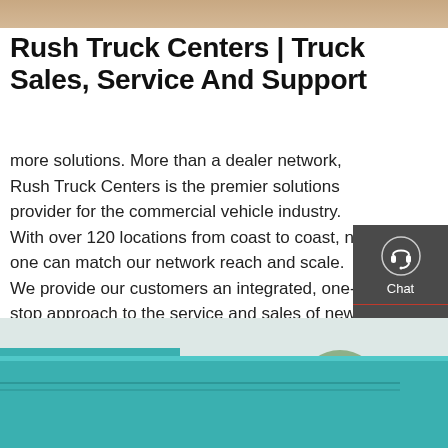[Figure (photo): Top decorative image strip showing a sandy/earthy brown gradient texture]
Rush Truck Centers | Truck Sales, Service And Support
more solutions. More than a dealer network, Rush Truck Centers is the premier solutions provider for the commercial vehicle industry. With over 120 locations from coast to coast, no one can match our network reach and scale. We provide our customers an integrated, one-stop approach to the service and sales of new and used heavy- and medium-duty
[Figure (infographic): Sidebar with dark gray background containing three contact options: Chat (headset icon), Email (envelope icon), Contact (speech bubble icon), separated by red dividers]
[Figure (photo): Bottom image showing a teal/turquoise commercial truck with trees and utility poles in the background]